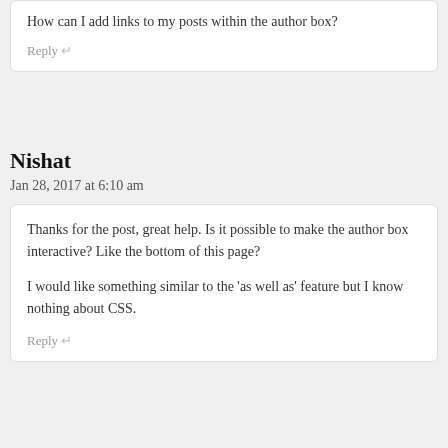How can I add links to my posts within the author box?
Reply ↵
Nishat
Jan 28, 2017 at 6:10 am
Thanks for the post, great help. Is it possible to make the author box interactive? Like the bottom of this page?
I would like something similar to the 'as well as' feature but I know nothing about CSS.
Reply ↵